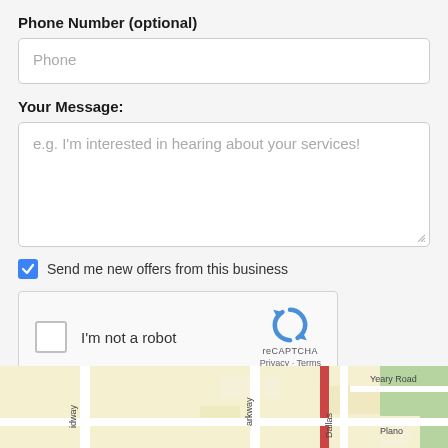Phone Number (optional)
[Figure (screenshot): Phone number input field with placeholder text 'Phone']
Your Message:
[Figure (screenshot): Textarea with placeholder text "e.g. I'm interested in hearing about your services!"]
Send me new offers from this business
[Figure (screenshot): reCAPTCHA widget with checkbox 'I'm not a robot', logo and Privacy/Terms links]
[Figure (screenshot): Send Message button with envelope icon]
[Figure (map): Street map showing Yeary Road, Dallas Parkway, Midway, and Plano area]